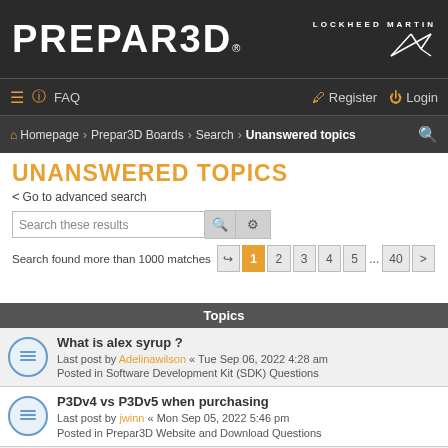PREPAR3D® LOCKHEED MARTIN
≡ FAQ  Register Login
Homepage · Prepar3D Boards · Search · Unanswered topics
UNANSWERED TOPICS
< Go to advanced search
Search these results
Search found more than 1000 matches  1 2 3 4 5 ... 40 >
Topics
What is alex syrup ?
Last post by Adelinawilson « Tue Sep 06, 2022 4:28 am
Posted in Software Development Kit (SDK) Questions
P3Dv4 vs P3Dv5 when purchasing
Last post by jwinn « Mon Sep 05, 2022 5:46 pm
Posted in Prepar3D Website and Download Questions
Bangalore Escorts
Last post by ashikasoni1682 « Mon Sep 05, 2022 2:12 pm
Posted in Prepar3D Installation and Installer Questions